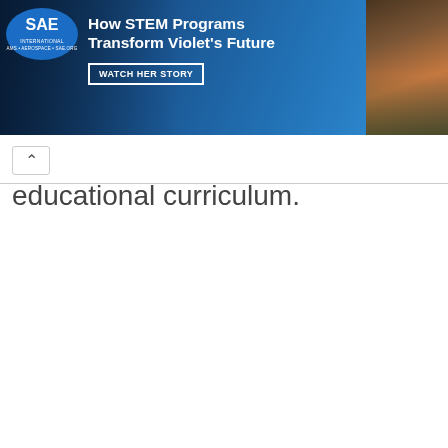[Figure (illustration): Advertisement banner for SAE with text 'How STEM Programs Transform Violet's Future' and 'WATCH HER STORY' CTA button, featuring SAE logo on the left and a photo of a child on the right, on a dark blue background.]
educational curriculum.